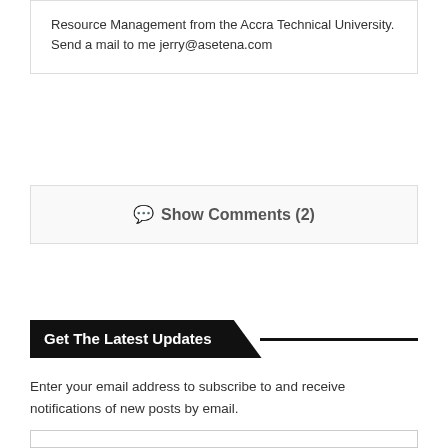Resource Management from the Accra Technical University. Send a mail to me jerry@asetena.com
💬 Show Comments (2)
Get The Latest Updates
Enter your email address to subscribe to and receive notifications of new posts by email.